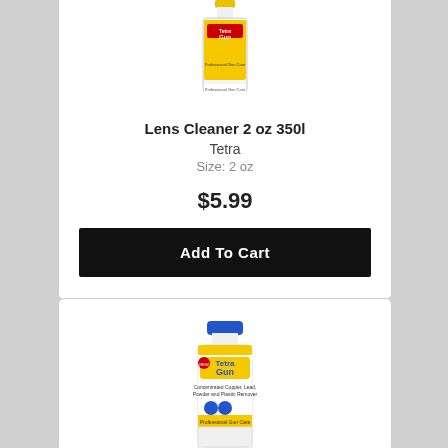[Figure (photo): Tetra Gun Lens Cleaner 2 oz yellow spray bottle, top portion visible]
Lens Cleaner 2 oz 350l
Tetra
Size: 2 oz
$5.99
Add To Cart
[Figure (photo): Tetra Gun copper care product white bottle with blue cap, bottom portion of page]